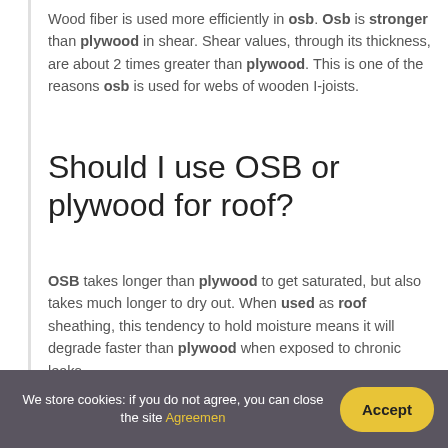Wood fiber is used more efficiently in osb. Osb is stronger than plywood in shear. Shear values, through its thickness, are about 2 times greater than plywood. This is one of the reasons osb is used for webs of wooden I-joists.
Should I use OSB or plywood for roof?
OSB takes longer than plywood to get saturated, but also takes much longer to dry out. When used as roof sheathing, this tendency to hold moisture means it will degrade faster than plywood when exposed to chronic leaks.
We store cookies: if you do not agree, you can close the site Agreemen Accept